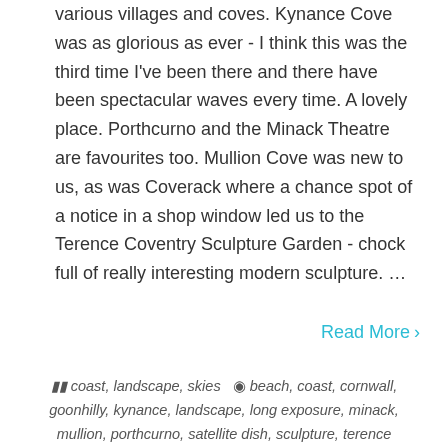various villages and coves. Kynance Cove was as glorious as ever - I think this was the third time I've been there and there have been spectacular waves every time. A lovely place. Porthcurno and the Minack Theatre are favourites too. Mullion Cove was new to us, as was Coverack where a chance spot of a notice in a shop window led us to the Terence Coventry Sculpture Garden - chock full of really interesting modern sculpture. ...
Read More ›
coast, landscape, skies  beach, coast, cornwall, goonhilly, kynance, landscape, long exposure, minack, mullion, porthcurno, satellite dish, sculpture, terence coventry, theatre, waves